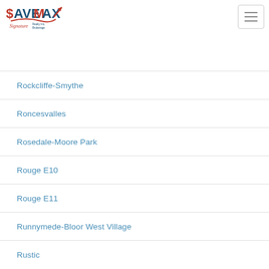[Figure (logo): Save Max Signature Realty logo with red dollar sign, blue MAX text, red arrow, and cursive Signature text]
Rockcliffe-Smythe
Roncesvalles
Rosedale-Moore Park
Rouge E10
Rouge E11
Runnymede-Bloor West Village
Rustic